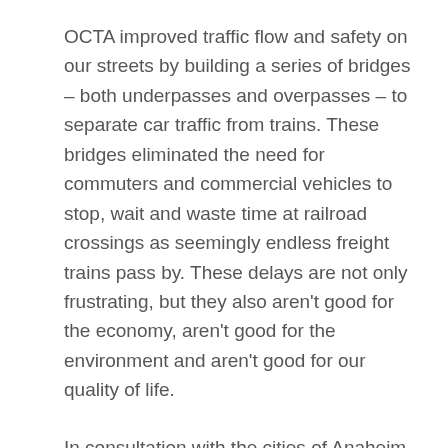OCTA improved traffic flow and safety on our streets by building a series of bridges – both underpasses and overpasses – to separate car traffic from trains. These bridges eliminated the need for commuters and commercial vehicles to stop, wait and waste time at railroad crossings as seemingly endless freight trains pass by. These delays are not only frustrating, but they also aren't good for the economy, aren't good for the environment and aren't good for our quality of life.
In consultation with the cities of Anaheim, Fullerton and Placentia, OCTA implemented the O.C. Bridges Program, by building undercrossings and overcrossings at seven local rail crossings. With the dual goals of improving safety and removing